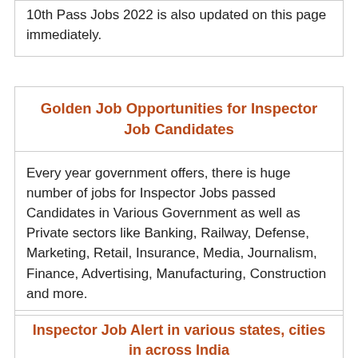10th Pass Jobs 2022 is also updated on this page immediately.
Golden Job Opportunities for Inspector Job Candidates
Every year government offers, there is huge number of jobs for Inspector Jobs passed Candidates in Various Government as well as Private sectors like Banking, Railway, Defense, Marketing, Retail, Insurance, Media, Journalism, Finance, Advertising, Manufacturing, Construction and more.
Inspector Job Alert in various states, cities in across India